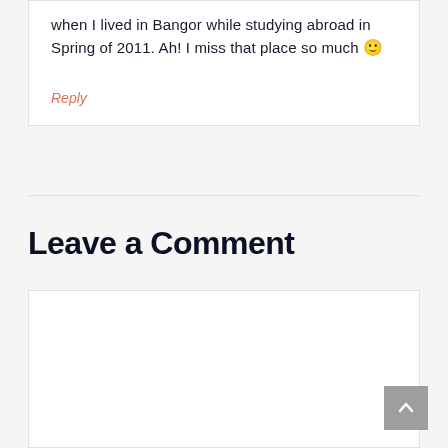when I lived in Bangor while studying abroad in Spring of 2011. Ah! I miss that place so much 🙂
Reply
Leave a Comment